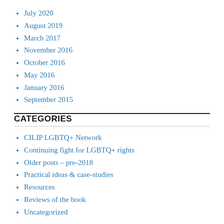July 2020
August 2019
March 2017
November 2016
October 2016
May 2016
January 2016
September 2015
CATEGORIES
CILIP LGBTQ+ Network
Continuing fight for LGBTQ+ rights
Older posts – pre-2018
Practical ideas & case-studies
Resources
Reviews of the book
Uncategorized
META